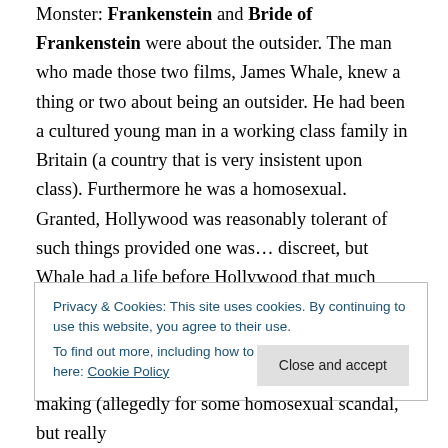Monster. Frankenstein and Bride of Frankenstein were about the outsider. The man who made those two films, James Whale, knew a thing or two about being an outsider. He had been a cultured young man in a working class family in Britain (a country that is very insistent upon class). Furthermore he was a homosexual. Granted, Hollywood was reasonably tolerant of such things provided one was… discreet, but Whale had a life before Hollywood that much have been difficult. Author Christopher Bram wrote a fictionalized account of the last days of Whale's life called Father of Frankenstein.
Privacy & Cookies: This site uses cookies. By continuing to use this website, you agree to their use.
To find out more, including how to control cookies, see here: Cookie Policy
Close and accept
making (allegedly for some homosexual scandal, but really